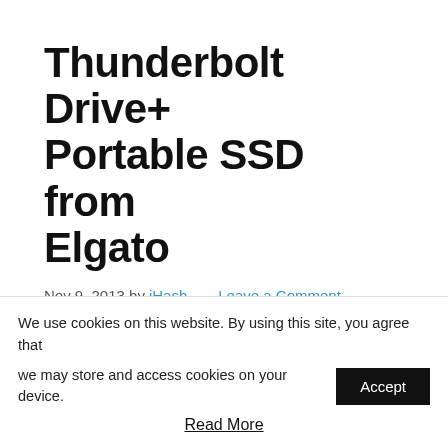Thunderbolt Drive+ Portable SSD from Elgato
Nov 9, 2013 by iHash — Leave a Comment
Elgato has unveiled Thunderbolt Drive+, a fast and ultra-portable SSD that features Thunderbolt and USB 3.0 support.
We use cookies on this website. By using this site, you agree that we may store and access cookies on your device.
Accept
Read More